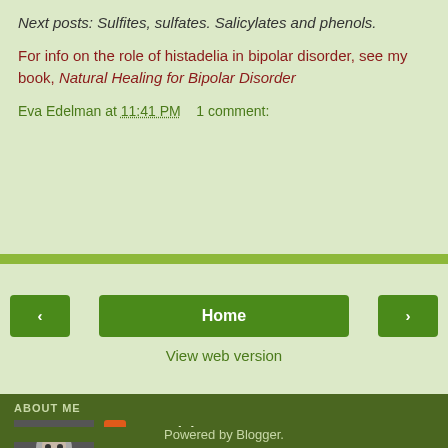Next posts: Sulfites, sulfates. Salicylates and phenols.
For info on the role of histadelia in bipolar disorder, see my book, Natural Healing for Bipolar Disorder
Eva Edelman at 11:41 PM   1 comment:
Home
View web version
ABOUT ME
Eva Edelman
View my complete profile
Powered by Blogger.